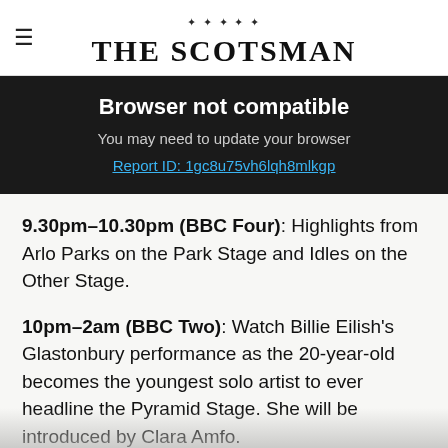THE SCOTSMAN
Browser not compatible
You may need to update your browser
Report ID: 1gc8u75vh6lqh8mlkgp
9.30pm-10.30pm (BBC Four): Highlights from Arlo Parks on the Park Stage and Idles on the Other Stage.
10pm-2am (BBC Two): Watch Billie Eilish's Glastonbury performance as the 20-year-old becomes the youngest solo artist to ever headline the Pyramid Stage. She will be introduced by Clara Amfo.